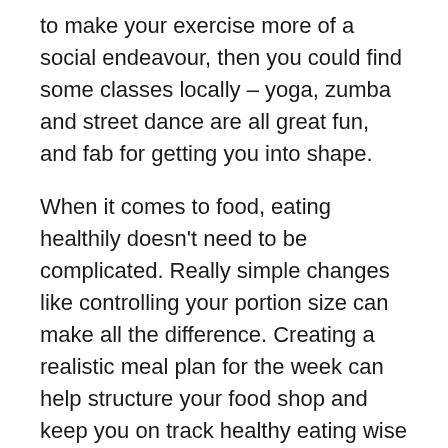to make your exercise more of a social endeavour, then you could find some classes locally – yoga, zumba and street dance are all great fun, and fab for getting you into shape.
When it comes to food, eating healthily doesn't need to be complicated. Really simple changes like controlling your portion size can make all the difference. Creating a realistic meal plan for the week can help structure your food shop and keep you on track healthy eating wise – it's hard to wander away from something you've already prepared for! This also means you don't over-buy food, so you can save money and eat healthier at the same time.
Eating properly and exercising are easy ways to